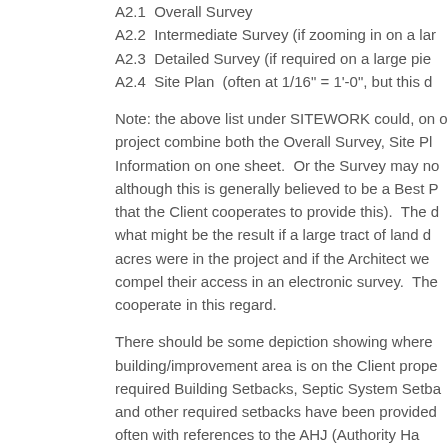A2.1  Overall Survey
A2.2  Intermediate Survey (if zooming in on a la...
A2.3  Detailed Survey (if required on a large pie...
A2.4  Site Plan  (often at 1/16" = 1'-0", but this d...
Note: the above list under SITEWORK could, on o... project combine both the Overall Survey, Site Pl... Information on one sheet.  Or the Survey may no... although this is generally believed to be a Best P... that the Client cooperates to provide this).  The d... what might be the result if a large tract of land d... acres were in the project and if the Architect we... compel their access in an electronic survey.  The ... cooperate in this regard.
There should be some depiction showing where ... building/improvement area is on the Client prope... required Building Setbacks, Septic System Setba... and other required setbacks have been provided... often with references to the AHJ (Authority Ha...